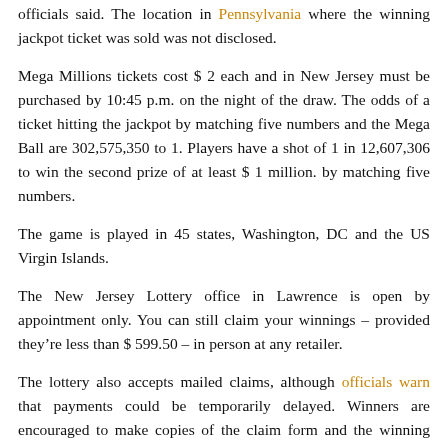officials said. The location in Pennsylvania where the winning jackpot ticket was sold was not disclosed.
Mega Millions tickets cost $ 2 each and in New Jersey must be purchased by 10:45 p.m. on the night of the draw. The odds of a ticket hitting the jackpot by matching five numbers and the Mega Ball are 302,575,350 to 1. Players have a shot of 1 in 12,607,306 to win the second prize of at least $ 1 million. by matching five numbers.
The game is played in 45 states, Washington, DC and the US Virgin Islands.
The New Jersey Lottery office in Lawrence is open by appointment only. You can still claim your winnings – provided they’re less than $ 599.50 – in person at any retailer.
The lottery also accepts mailed claims, although officials warn that payments could be temporarily delayed. Winners are encouraged to make copies of the claim form and the winning ticket for their records.
Thank you for relying on us to provide you with journalism you can trust.